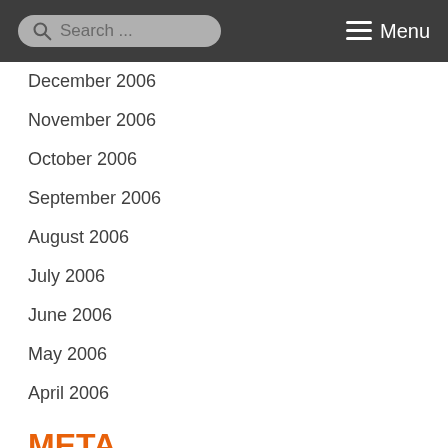Search ... Menu
December 2006
November 2006
October 2006
September 2006
August 2006
July 2006
June 2006
May 2006
April 2006
META
Log in
Entries feed
Comments feed
WordPress.org